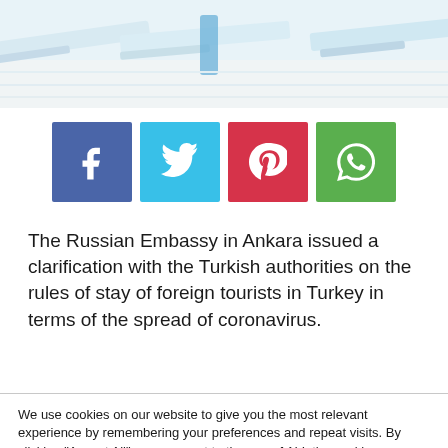[Figure (photo): Photo of white pool/beach lounger chairs on a sunny day, cropped at top of page]
[Figure (infographic): Social share buttons row: Facebook (blue), Twitter (light blue), Pinterest (red), WhatsApp (green)]
The Russian Embassy in Ankara issued a clarification with the Turkish authorities on the rules of stay of foreign tourists in Turkey in terms of the spread of coronavirus.
We use cookies on our website to give you the most relevant experience by remembering your preferences and repeat visits. By clicking "Accept All", you consent to the use of ALL the cookies. However, you may visit "Cookie Settings" to provide a controlled consent.